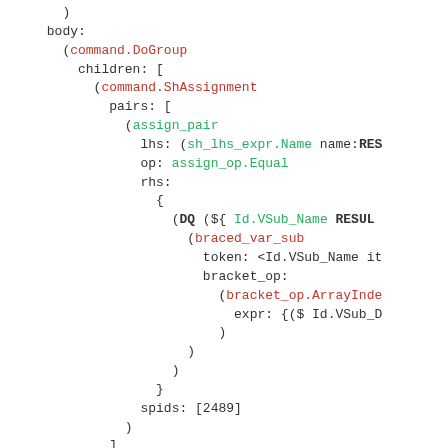Code snippet showing AST structure with command.DoGroup, command.ShAssignment, assign_pair, braced_var_sub, bracket_op.ArrayIndex nodes